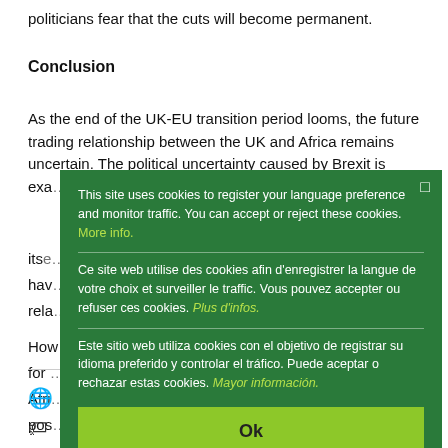politicians fear that the cuts will become permanent.
Conclusion
As the end of the UK-EU transition period looms, the future trading relationship between the UK and Africa remains uncertain. The political uncertainty caused by Brexit is exa[cerbated by] itse[lf...] hav[ing...] rela[tionship...]
How[ever...] for [the...] Afri[ca...] pos[ition...]
[Figure (screenshot): Cookie consent overlay in dark green with three language versions (English, French, Spanish) and an Ok button in light green.]
EAC   ESA   SACU   UK